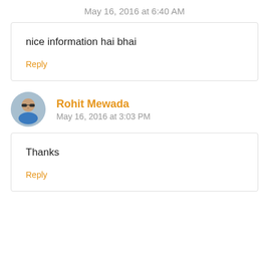May 16, 2016 at 6:40 AM
nice information hai bhai
Reply
Rohit Mewada
May 16, 2016 at 3:03 PM
Thanks
Reply